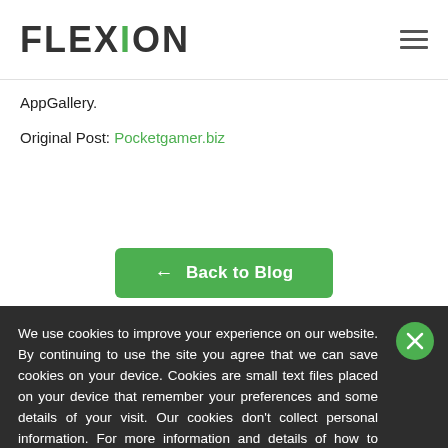FLEXION
AppGallery.
Original Post: Pocketgamer.biz
← Back to Blog
We use cookies to improve your experience on our website. By continuing to use the site you agree that we can save cookies on your device. Cookies are small text files placed on your device that remember your preferences and some details of your visit. Our cookies don't collect personal information. For more information and details of how to disable cookies, please read our updated website privacy and cookie policy